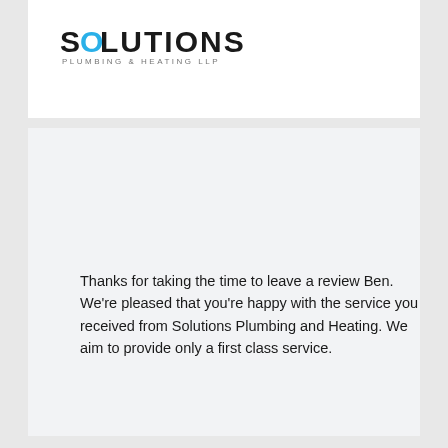[Figure (logo): Solutions Plumbing & Heating LLP logo, top card]
Thanks for taking the time to leave a review Ben. We're pleased that you're happy with the service you received from Solutions Plumbing and Heating. We aim to provide only a first class service.
Posted 4 years ago
[Figure (logo): Solutions Plumbing & Heating LLP logo, bottom card]